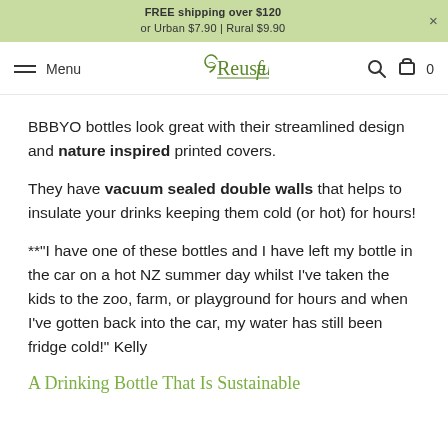FREE shipping over $120 or Urban $7.90 | Rural $9.90
Menu | Reuseful | 0
BBBYO bottles look great with their streamlined design and nature inspired printed covers.
They have vacuum sealed double walls that helps to insulate your drinks keeping them cold (or hot) for hours!
**"I have one of these bottles and I have left my bottle in the car on a hot NZ summer day whilst I've taken the kids to the zoo, farm, or playground for hours and when I've gotten back into the car, my water has still been fridge cold!" Kelly
A Drinking Bottle That Is Sustainable